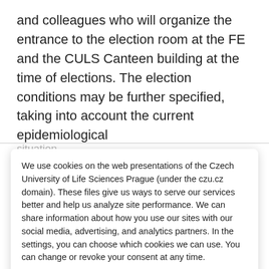and colleagues who will organize the entrance to the election room at the FE and the CULS Canteen building at the time of elections. The election conditions may be further specified, taking into account the current epidemiological
situation.
We use cookies on the web presentations of the Czech University of Life Sciences Prague (under the czu.cz domain). These files give us ways to serve our services better and help us analyze site performance. We can share information about how you use our sites with our social media, advertising, and analytics partners. In the settings, you can choose which cookies we can use. You can change or revoke your consent at any time.
Customize
Deny
Allow all